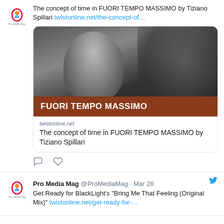[Figure (screenshot): Twitter/social media screenshot showing two tweets from Pro Media Mag (@ProMediaMag). First tweet: text about 'The concept of time in FUORI TEMPO MASSIMO by Tiziano Spillari' with a link card showing a black-and-white photo of a man with a guitar and a brown banner reading 'FUORI TEMPO MASSIMO', domain twistonline.net. Second tweet from Mar 28 about 'Get Ready for BlackLight's Bring Me That Feeling (Original Mix)' with a twistonline.net link.]